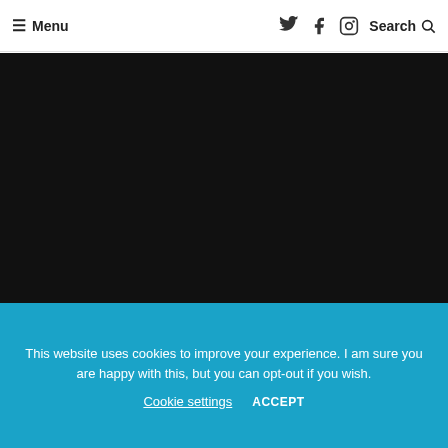Menu | Twitter Facebook Instagram Search
[Figure (photo): Dark/black background area filling the main content region of the page, appears to be a video or image placeholder]
This website uses cookies to improve your experience. I am sure you are happy with this, but you can opt-out if you wish. Cookie settings ACCEPT